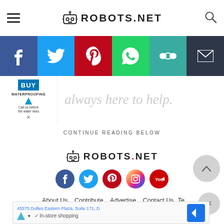ROBOTS.NET
[Figure (infographic): Social share bar with icons: Facebook, Twitter, Pinterest, WhatsApp, Copy link, Email]
[Figure (photo): Advertisement banner with BUY WATERPROOFING logo on left and large text 'always here to help.' on right]
CONTINUE READING BELOW
[Figure (logo): ROBOTS.NET footer logo with robot icon]
[Figure (infographic): Social media icon circles: Facebook, Twitter, Pinterest, Instagram, YouTube]
About Us   Contribute   Advertise   Contact Us   Te...   Privacy Policy   Affiliate Disclosure   DMCA
[Figure (screenshot): Bottom advertisement showing address 45575 Dulles Eastern Plaza, Suite 171, D with In-store shopping and navigation icon]